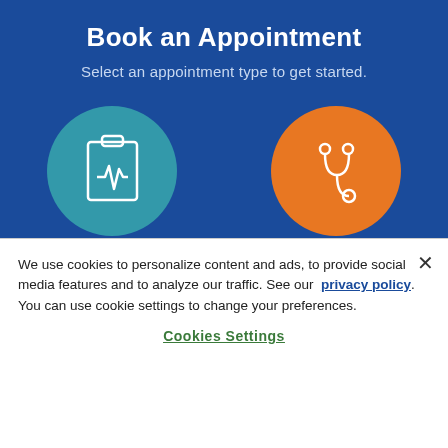Book an Appointment
Select an appointment type to get started.
[Figure (illustration): Teal circle with white clipboard/medical chart icon representing 'My Pet is Sick' appointment type]
My Pet is Sick
[Figure (illustration): Orange circle with white stethoscope icon representing 'Physical Exam or Vaccines' appointment type]
Physical Exam or Vaccines
We use cookies to personalize content and ads, to provide social media features and to analyze our traffic. See our privacy policy. You can use cookie settings to change your preferences.
Cookies Settings